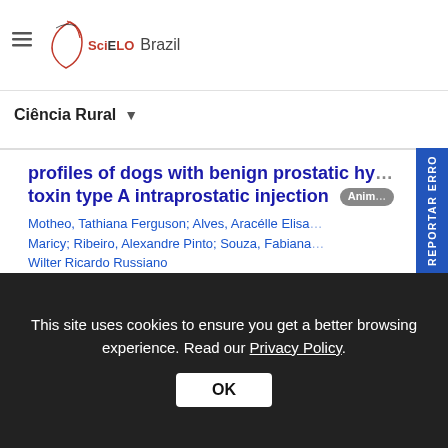SciELO Brazil
Ciência Rural
profiles of dogs with benign prostatic hy... toxin type A intraprostatic injection [Animal]
Motheo, Tathiana Ferguson; Alves, Aracélle Elisa... Maricy; Ribeiro, Alexandre Pinto; Souza, Fabiana... Wilter Ricardo Russiano
Abstract: EN  PT  |  Text: EN  |  PDF: EN
Antimicrobial and aromatic edible co... preservation [Food Technology]
This site uses cookies to ensure you get a better browsing experience. Read our Privacy Policy.